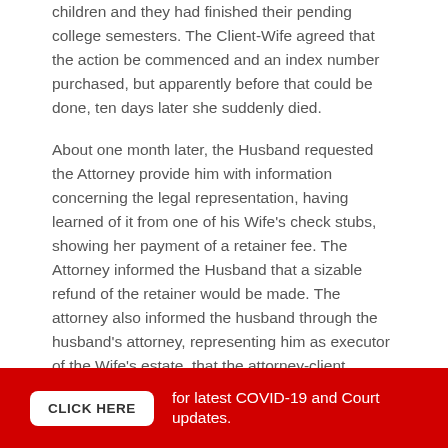children and they had finished their pending college semesters. The Client-Wife agreed that the action be commenced and an index number purchased, but apparently before that could be done, ten days later she suddenly died.
About one month later, the Husband requested the Attorney provide him with information concerning the legal representation, having learned of it from one of his Wife's check stubs, showing her payment of a retainer fee. The Attorney informed the Husband that a sizable refund of the retainer would be made. The attorney also informed the husband through the husband's attorney, representing him as executor of the Wife's estate, that the attorney-client privilege would bar disclosure of any detailed information or communications between Attorney and Client-Wife concerning the representation.
The Inquiring Attorney requests our advice and guidance
CLICK HERE   for latest COVID-19 and Court updates.